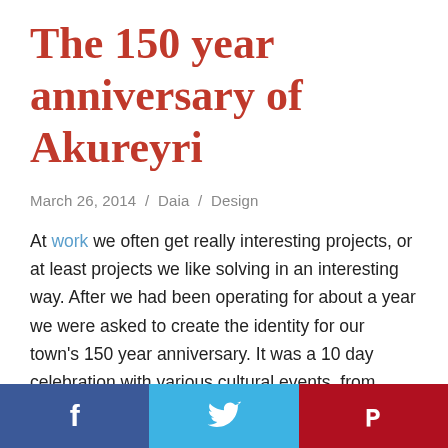The 150 year anniversary of Akureyri
March 26, 2014 / Daia / Design
At work we often get really interesting projects, or at least projects we like solving in an interesting way. After we had been operating for about a year we were asked to create the identity for our town's 150 year anniversary. It was a 10 day celebration with various cultural events, from events made by kids at the kindergarten to art exhibitions and outdoor rock concerts. To find something which everyone can relate to was a really exciting idea at first and then incredibly difficult at second and third thought. We dug into the identity and image of our town; its located at the bottom of the fjord, with mountains on both sides
f / Twitter / Pinterest social share bar